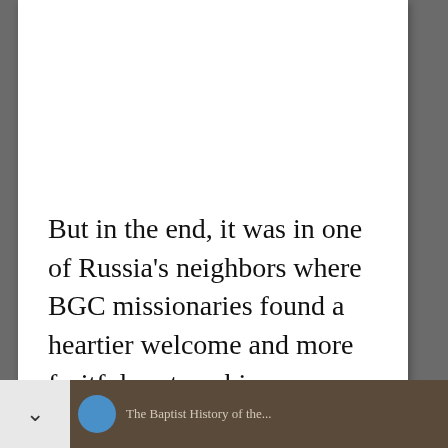But in the end, it was in one of Russia's neighbors where BGC missionaries found a heartier welcome and more fruitful partnerships.
[Figure (screenshot): Bottom navigation bar of a digital reading app with a chevron/down arrow button on the left, a circular blue icon, and partial text reading 'The Baptist History of the...' on a brown background]